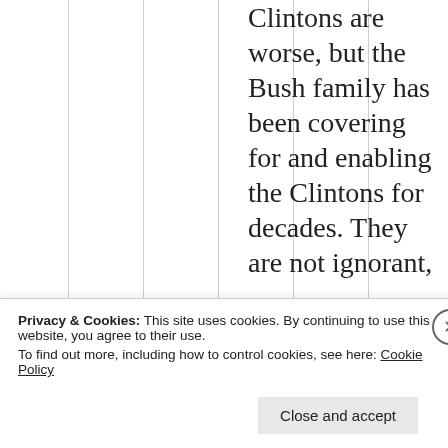Clintons are worse, but the Bush family has been covering for and enabling the Clintons for decades. They are not ignorant,
Privacy & Cookies: This site uses cookies. By continuing to use this website, you agree to their use. To find out more, including how to control cookies, see here: Cookie Policy